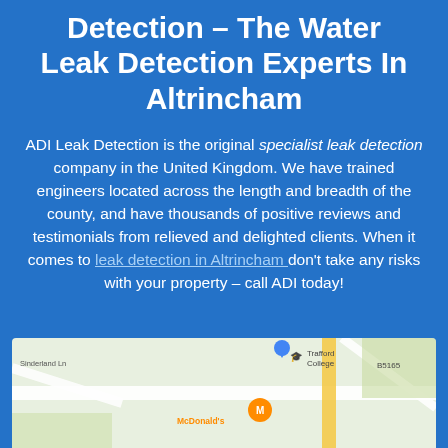Detection – The Water Leak Detection Experts In Altrincham
ADI Leak Detection is the original specialist leak detection company in the United Kingdom. We have trained engineers located across the length and breadth of the county, and have thousands of positive reviews and testimonials from relieved and delighted clients. When it comes to leak detection in Altrincham don't take any risks with your property – call ADI today!
[Figure (map): Google Maps view showing Altrincham area with Sinderland Ln, Trafford College, McDonald's, and road B5165 visible]